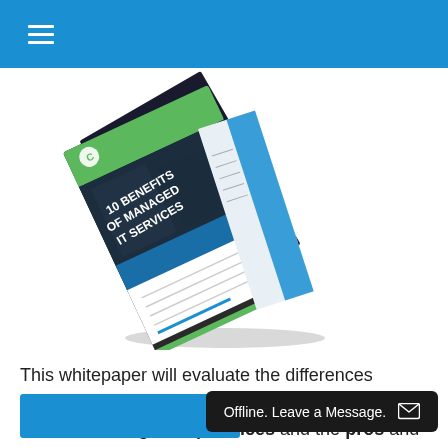☰ (navigation menu)
[Figure (illustration): A tilted booklet/whitepaper showing the cover '10 BENEFITS OF MANAGED IT SERVICES' with a green and dark cover design, displayed at an angle with pages fanning open.]
This whitepaper will evaluate the differences between traditional technical support practices and modern managed IT practices and the pros and cons of both in regards to small and medium-sized businesses.
[Figure (screenshot): Offline chat widget: black rounded rectangle with text 'Offline. Leave a Message.' and an envelope icon.]